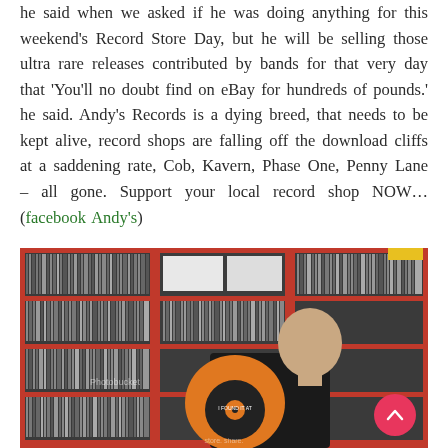he said when we asked if he was doing anything for this weekend's Record Store Day, but he will be selling those ultra rare releases contributed by bands for that very day that 'You'll no doubt find on eBay for hundreds of pounds.' he said. Andy's Records is a dying breed, that needs to be kept alive, record shops are falling off the download cliffs at a saddening rate, Cob, Kavern, Phase One, Penny Lane – all gone. Support your local record shop NOW... (facebook Andy's)
[Figure (photo): A bald man looking at an orange vinyl record in a record store with red shelving units packed with vinyl records and CDs. A Photobucket watermark is visible on the image.]